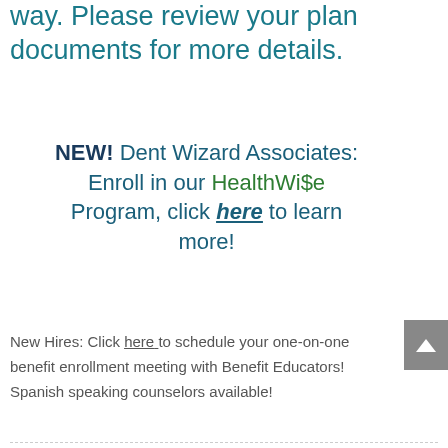in a quick and easy to understand way. Please review your plan documents for more details.
NEW! Dent Wizard Associates: Enroll in our HealthWi$e Program, click here to learn more!
New Hires: Click here to schedule your one-on-one benefit enrollment meeting with Benefit Educators! Spanish speaking counselors available!